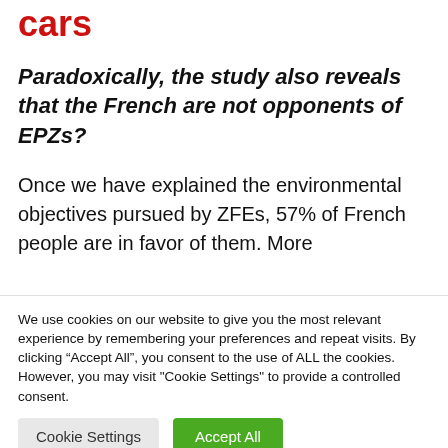cars
Paradoxically, the study also reveals that the French are not opponents of EPZs?
Once we have explained the environmental objectives pursued by ZFEs, 57% of French people are in favor of them. More
We use cookies on our website to give you the most relevant experience by remembering your preferences and repeat visits. By clicking “Accept All”, you consent to the use of ALL the cookies. However, you may visit "Cookie Settings" to provide a controlled consent.